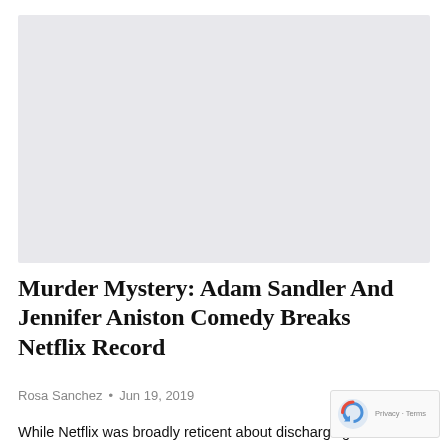[Figure (photo): Light gray rectangular image placeholder area at top of article page]
Murder Mystery: Adam Sandler And Jennifer Aniston Comedy Breaks Netflix Record
Rosa Sanchez • Jun 19, 2019
While Netflix was broadly reticent about discharging see...g